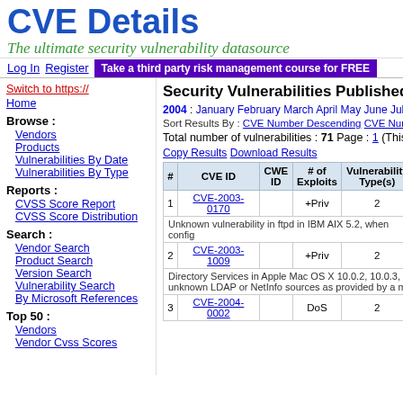CVE Details
The ultimate security vulnerability datasource
Log In  Register  Take a third party risk management course for FREE
Switch to https://
Home
Browse :
Vendors
Products
Vulnerabilities By Date
Vulnerabilities By Type
Reports :
CVSS Score Report
CVSS Score Distribution
Search :
Vendor Search
Product Search
Version Search
Vulnerability Search
By Microsoft References
Top 50 :
Vendors
Vendor Cvss Scores
Security Vulnerabilities Published In
2004 : January February March April May June July A
Sort Results By : CVE Number Descending  CVE Number Asc
Total number of vulnerabilities : 71   Page : 1 (This Page
Copy Results  Download Results
| # | CVE ID | CWE ID | # of Exploits | Vulnerability Type(s) |  |
| --- | --- | --- | --- | --- | --- |
| 1 | CVE-2003-0170 |  | +Priv | 2 |  |
|  | Unknown vulnerability in ftpd in IBM AIX 5.2, when config |  |  |  |  |
| 2 | CVE-2003-1009 |  | +Priv | 2 |  |
|  | Directory Services in Apple Mac OS X 10.0.2, 10.0.3, 10... unknown LDAP or NetInfo sources as provided by a mali |  |  |  |  |
| 3 | CVE-2004-0002 |  | DoS | 2 |  |